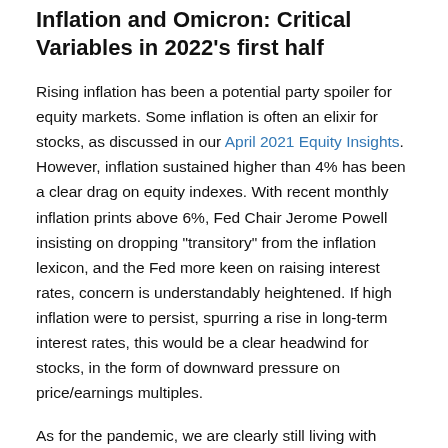Inflation and Omicron: Critical Variables in 2022's first half
Rising inflation has been a potential party spoiler for equity markets. Some inflation is often an elixir for stocks, as discussed in our April 2021 Equity Insights. However, inflation sustained higher than 4% has been a clear drag on equity indexes. With recent monthly inflation prints above 6%, Fed Chair Jerome Powell insisting on dropping "transitory" from the inflation lexicon, and the Fed more keen on raising interest rates, concern is understandably heightened. If high inflation were to persist, spurring a rise in long-term interest rates, this would be a clear headwind for stocks, in the form of downward pressure on price/earnings multiples.
As for the pandemic, we are clearly still living with Covid-19. From an investing perspective in 2021, the equity market had largely moved on as the Delta variant seemed to be peaking. But the surprising new variant put pandemic worries back in